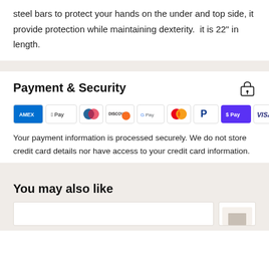steel bars to protect your hands on the under and top side, it provide protection while maintaining dexterity.  it is 22" in length.
Payment & Security
[Figure (infographic): Payment method logos: Amex, Apple Pay, Diners Club, Discover, Google Pay, Mastercard, PayPal, Shop Pay, Visa]
Your payment information is processed securely. We do not store credit card details nor have access to your credit card information.
You may also like